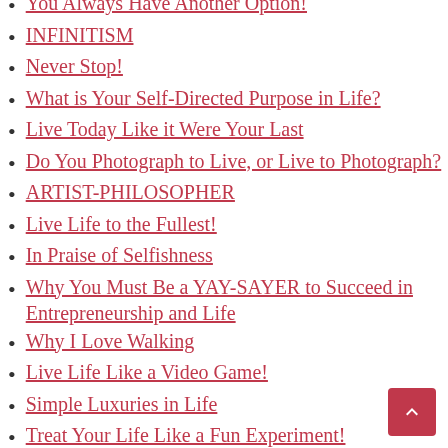You Always Have Another Option!
INFINITISM
Never Stop!
What is Your Self-Directed Purpose in Life?
Live Today Like it Were Your Last
Do You Photograph to Live, or Live to Photograph?
ARTIST-PHILOSOPHER
Live Life to the Fullest!
In Praise of Selfishness
Why You Must Be a YAY-SAYER to Succeed in Entrepreneurship and Life
Why I Love Walking
Live Life Like a Video Game!
Simple Luxuries in Life
Treat Your Life Like a Fun Experiment!
Only Prove it to Yourself